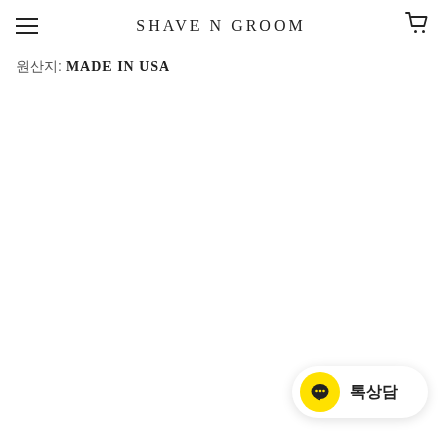SHAVE N GROOM
원산지: MADE IN USA
[Figure (other): KakaoTalk chat button with yellow circle speech bubble icon and Korean text '톡상담']